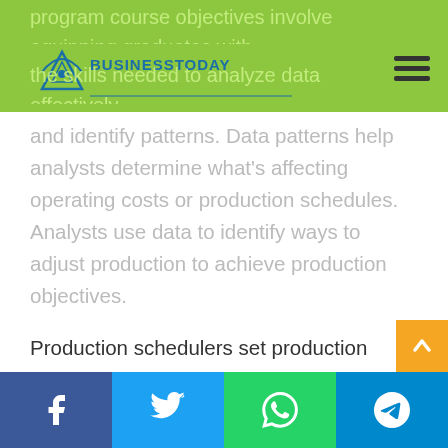BusinessTodayWeb — website header with logo and hamburger menu
program course objectives involve equipping graduates with the skills needed to analyze data effectively and identify patterns. Data patterns help analysts determine what's affecting operating costs or production schedules. Analysts use data to identify ways to adjust production to achieve production objectives.
Production schedulers set production targets and create schedules to ensure production goals are met. Google “business cases for manufacturing analytics” to learn how analytics are transforming manufacturing operations. Manufacturing analytics enable production managers to access and utilize all relevant data that can be used to reduce downtime, increase revenues, and increase efficiency. Individuals interested in business analytics may opt to complete a business analytics program or take courses in
Social share buttons: Facebook, Twitter, WhatsApp, Telegram